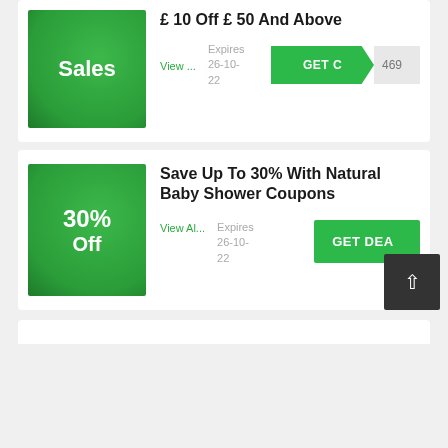[Figure (infographic): Green gradient box with white bold text 'Sales']
£ 10 Off £ 50 And Above
View ...
Expires 26-10-22
GET C 469
[Figure (infographic): Green gradient box with white bold text '30% Off']
Save Up To 30% With Natural Baby Shower Coupons
View Al...
Expires 26-10-22
GET DEAL